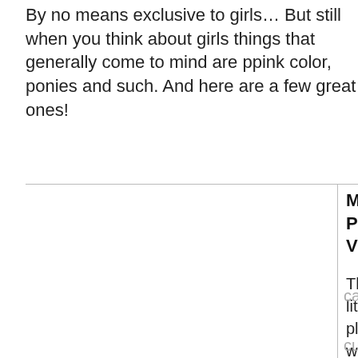By no means exclusive to girls… But still when you think about girls things that generally come to mind are ppink color, ponies and such. And here are a few great ones!
[Figure (photo): Empty white box / image placeholder on the left column]
My Pal Violet
This little plus will b their bes friend! Why? For once it's adorable and secondly can be customi